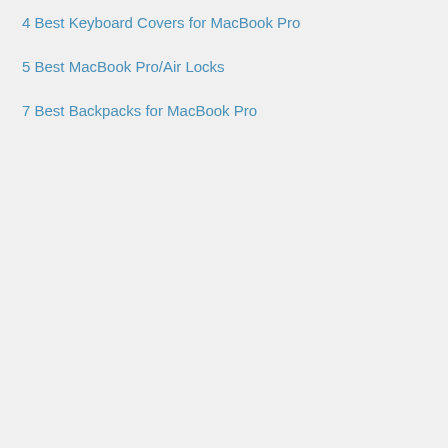4 Best Keyboard Covers for MacBook Pro
5 Best MacBook Pro/Air Locks
7 Best Backpacks for MacBook Pro